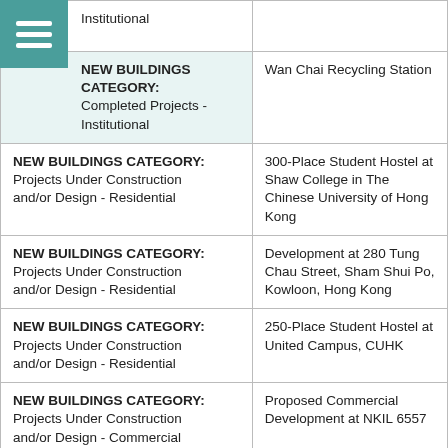| Category | Project |
| --- | --- |
| Institutional |  |
| NEW BUILDINGS CATEGORY: Completed Projects - Institutional | Wan Chai Recycling Station |
| NEW BUILDINGS CATEGORY: Projects Under Construction and/or Design - Residential | 300-Place Student Hostel at Shaw College in The Chinese University of Hong Kong |
| NEW BUILDINGS CATEGORY: Projects Under Construction and/or Design - Residential | Development at 280 Tung Chau Street, Sham Shui Po, Kowloon, Hong Kong |
| NEW BUILDINGS CATEGORY: Projects Under Construction and/or Design - Residential | 250-Place Student Hostel at United Campus, CUHK |
| NEW BUILDINGS CATEGORY: Projects Under Construction and/or Design - Commercial | Proposed Commercial Development at NKIL 6557 |
| NEW BUILDINGS CATEGORY: Projects Under Construction and/or Design - Commercial | Proposed Office Redevelopment at 226-240 Electric Road, North Point |
| NEW BUILDINGS CATEGORY: Projects Under Construction | Shing Kai Road Substation |